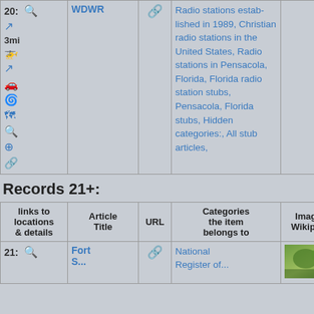| links to locations & details | Article Title | URL | Categories the item belongs to | Images in Wikipedia a... |
| --- | --- | --- | --- | --- |
| 20: [icons] | WDWR | [link] | Radio stations established in 1989, Christian radio stations in the United States, Radio stations in Pensacola, Florida, Florida radio station stubs, Pensacola, Florida stubs, Hidden categories:, All stub articles, |  |
Records 21+:
| links to locations & details | Article Title | URL | Categories the item belongs to | Images in Wikipedia a... |
| --- | --- | --- | --- | --- |
| 21: [icons] | Fort ... | [link] | National Register of... | [photo] |